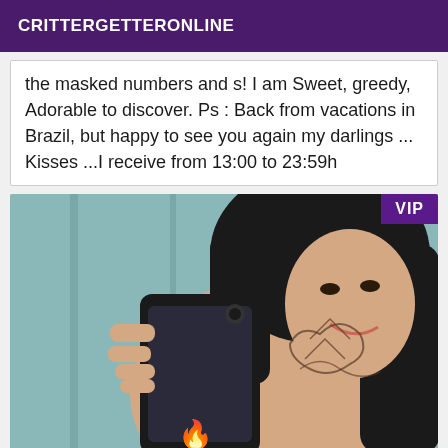CRITTERGETTERONLINE
the masked numbers and s! I am Sweet, greedy, Adorable to discover. Ps : Back from vacations in Brazil, but happy to see you again my darlings ... Kisses ...I receive from 13:00 to 23:59h
[Figure (photo): Woman taking a selfie in a mirror, holding a Samsung smartphone, with tattoos visible on her shoulder and arm. A VIP badge is shown in the top right corner of the image.]